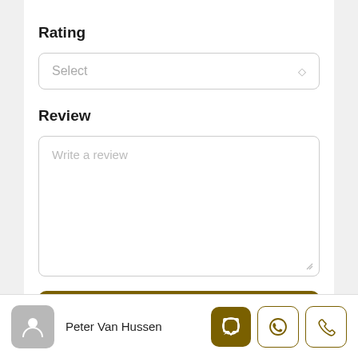Rating
Select
Review
Write a review
Submit Review
Peter Van Hussen